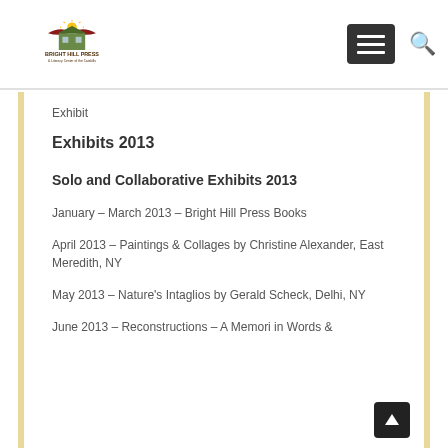Bright Hill Press & Literacy Center of the Catskills
Exhibit
Exhibits 2013
Solo and Collaborative Exhibits 2013
January – March 2013 – Bright Hill Press Books
April 2013 – Paintings & Collages by Christine Alexander, East Meredith, NY
May 2013 – Nature's Intaglios by Gerald Scheck, Delhi, NY
June 2013 – Reconstructions – A Memori in Words &